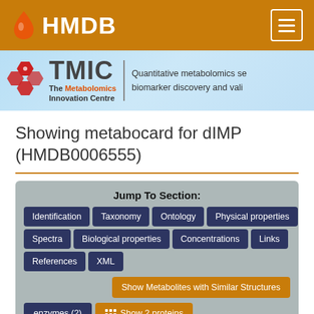HMDB
[Figure (logo): TMIC The Metabolomics Innovation Centre banner with tagline: Quantitative metabolomics se... biomarker discovery and vali...]
Showing metabocard for dIMP (HMDB0006555)
Jump To Section:
Identification
Taxonomy
Ontology
Physical properties
Spectra
Biological properties
Concentrations
Links
References
XML
Show Metabolites with Similar Structures
enzymes (2)  Show 2 proteins